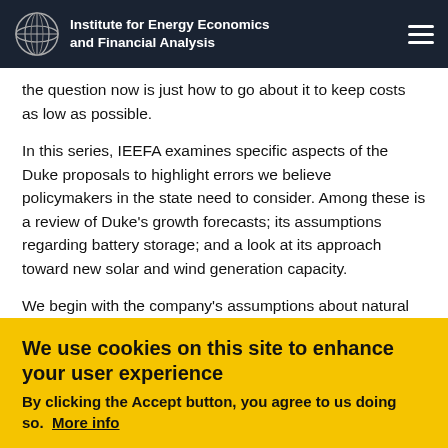Institute for Energy Economics and Financial Analysis
the question now is just how to go about it to keep costs as low as possible.
In this series, IEEFA examines specific aspects of the Duke proposals to highlight errors we believe policymakers in the state need to consider. Among these is a review of Duke’s growth forecasts; its assumptions regarding battery storage; and a look at its approach toward new solar and wind generation capacity.
We begin with the company’s assumptions about natural gas—
We use cookies on this site to enhance your user experience
By clicking the Accept button, you agree to us doing so.  More info